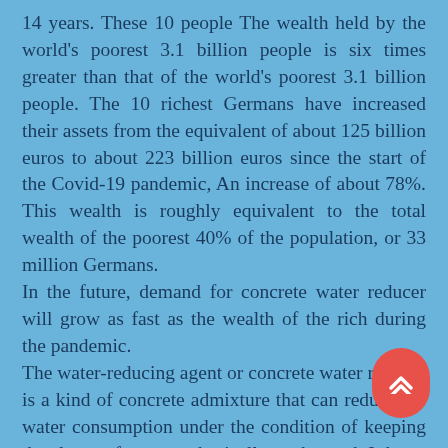14 years. These 10 people The wealth held by the world's poorest 3.1 billion people is six times greater than that of the world's poorest 3.1 billion people. The 10 richest Germans have increased their assets from the equivalent of about 125 billion euros to about 223 billion euros since the start of the Covid-19 pandemic, An increase of about 78%. This wealth is roughly equivalent to the total wealth of the poorest 40% of the population, or 33 million Germans. In the future, demand for concrete water reducer will grow as fast as the wealth of the rich during the pandemic. The water-reducing agent or concrete water reducer is a kind of concrete admixture that can reduce the water consumption under the condition of keeping the slump of concrete basically unchanged. It has a dispersive effe cement particles, can improve its workability, reduce consumption per unit, improve the fluidity of concrete mixture, or reduce the amount of cement per unit, saving